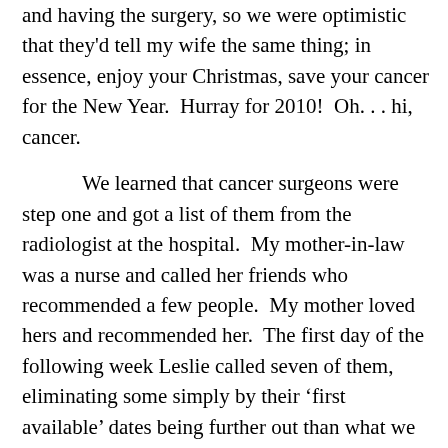and having the surgery, so we were optimistic that they'd tell my wife the same thing; in essence, enjoy your Christmas, save your cancer for the New Year.  Hurray for 2010!  Oh. . . hi, cancer.

	We learned that cancer surgeons were step one and got a list of them from the radiologist at the hospital.  My mother-in-law was a nurse and called her friends who recommended a few people.  My mother loved hers and recommended her.  The first day of the following week Leslie called seven of them, eliminating some simply by their ‘first available’ dates being further out than what we found comfortable.

	She faxed pathology reports to doctors' offices, or at least arranged for them to be faxed.  Over the phone she